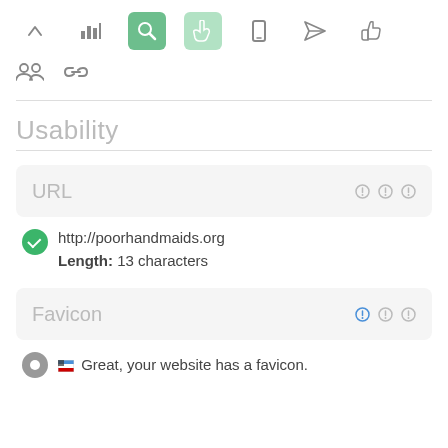[Figure (screenshot): Toolbar with navigation icons: up arrow, bar chart, magnifier (active dark green), hand pointer (active light green), mobile phone, paper plane, thumbs up]
[Figure (screenshot): Second toolbar row with people group icon and chain link icon]
Usability
URL (card header with gear icons)
http://poorhandmaids.org
Length: 13 characters
Favicon (card header with blue gear icon)
Great, your website has a favicon.